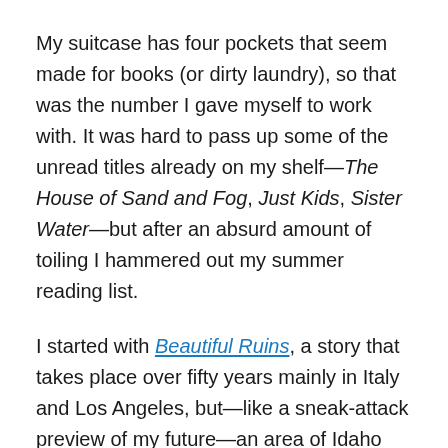My suitcase has four pockets that seem made for books (or dirty laundry), so that was the number I gave myself to work with. It was hard to pass up some of the unread titles already on my shelf—The House of Sand and Fog, Just Kids, Sister Water—but after an absurd amount of toiling I hammered out my summer reading list.
I started with Beautiful Ruins, a story that takes place over fifty years mainly in Italy and Los Angeles, but—like a sneak-attack preview of my future—an area of Idaho not far from Missoula makes a cameo appearance toward the end. Beautiful Ruins is a clever book. It bridges small village life with big-city dreams, and weaves